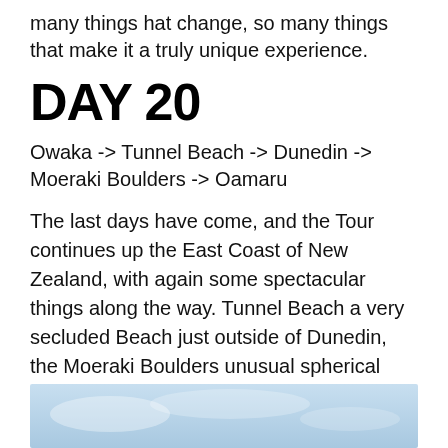many things hat change, so many things that make it a truly unique experience.
DAY 20
Owaka -> Tunnel Beach -> Dunedin -> Moeraki Boulders -> Oamaru
The last days have come, and the Tour continues up the East Coast of New Zealand, with again some spectacular things along the way. Tunnel Beach a very secluded Beach just outside of Dunedin, the Moeraki Boulders unusual spherical boulders on Koekohe Beach. and not to forget he legendary Sign : Penguin Crossing in Omaru, were the smallest Penguins in the world find their home. How is there a better day to finish the day?
[Figure (photo): Partial view of a light blue sky photo at the bottom of the page]